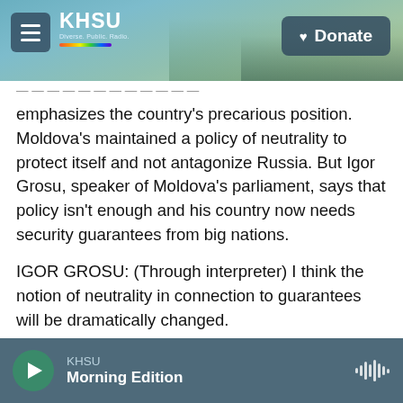KHSU — Donate
emphasizes the country's precarious position. Moldova's maintained a policy of neutrality to protect itself and not antagonize Russia. But Igor Grosu, speaker of Moldova's parliament, says that policy isn't enough and his country now needs security guarantees from big nations.
IGOR GROSU: (Through interpreter) I think the notion of neutrality in connection to guarantees will be dramatically changed.
LANGFITT: Does neutrality work?
KHSU Morning Edition